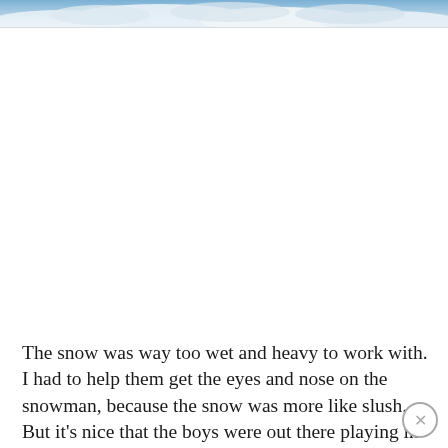[Figure (photo): Partial photo strip at the top of the page showing a sky with clouds, cut off — only the bottom portion of the image is visible.]
The snow was way too wet and heavy to work with. I had to help them get the eyes and nose on the snowman, because the snow was more like slush. But it's nice that the boys were out there playing in it! I'm not even going to look at the forecast beyond today, because if this is supposed to freeze over, I don't want to know ;)